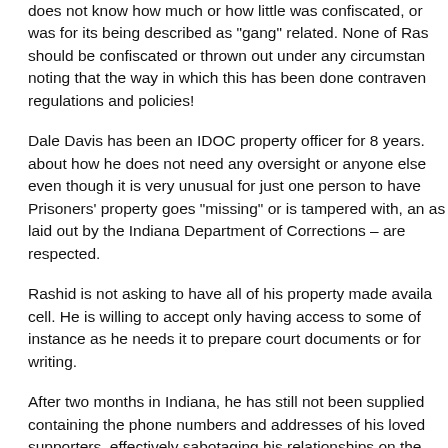does not know how much or how little was confiscated, or was for its being described as "gang" related. None of Rashid's property should be confiscated or thrown out under any circumstances, noting that the way in which this has been done contravenes regulations and policies!
Dale Davis has been an IDOC property officer for 8 years. He brags about how he does not need any oversight or anyone else to do his job, even though it is very unusual for just one person to have this role. Prisoners' property goes "missing" or is tampered with, and the rules as laid out by the Indiana Department of Corrections – are not being respected.
Rashid is not asking to have all of his property made available in his cell. He is willing to accept only having access to some of it, for instance as he needs it to prepare court documents or for his political writing.
After two months in Indiana, he has still not been supplied with a list containing the phone numbers and addresses of his loved ones and supporters, effectively sabotaging his relationships on the